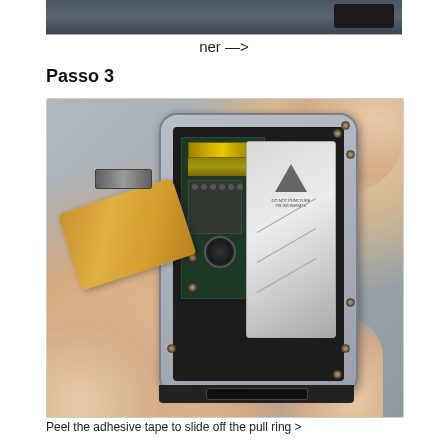[Figure (photo): Partial view of the previous step showing an iPhone being disassembled]
ner —>
Passo 3
[Figure (photo): Close-up photo of hands removing a flex cable/ribbon from an iPhone during disassembly. The phone interior is visible showing the battery, circuit board with chips, and gold connectors. A flex cable is being peeled away from the phone.]
Peel the adhesive tape to slide off the pull ring >